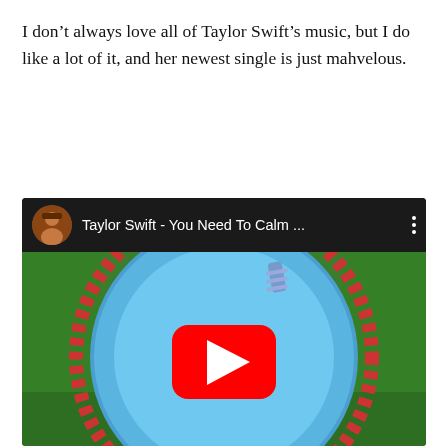I don’t always love all of Taylor Swift’s music, but I do like a lot of it, and her newest single is just mahvelous.
[Figure (screenshot): YouTube video embed showing Taylor Swift - You Need To Calm ... with a thumbnail of an aerial view of a circular pool on green grass with a play button overlay]